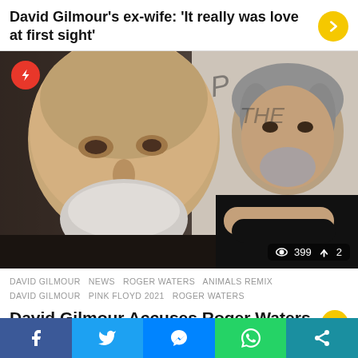David Gilmour's ex-wife: 'It really was love at first sight'
[Figure (photo): Side-by-side photo of David Gilmour (left, close-up, bald elderly man with white beard) and Roger Waters (right, grey-haired man in black t-shirt with arms crossed, Pink Floyd The Wall album artwork visible in background). Counter shows 399 views and 2 shares.]
DAVID GILMOUR   NEWS   ROGER WATERS   ANIMALS REMIX
DAVID GILMOUR   PINK FLOYD 2021   ROGER WATERS
David Gilmour Accuses Roger Waters Of Delaying Progress For Remix of